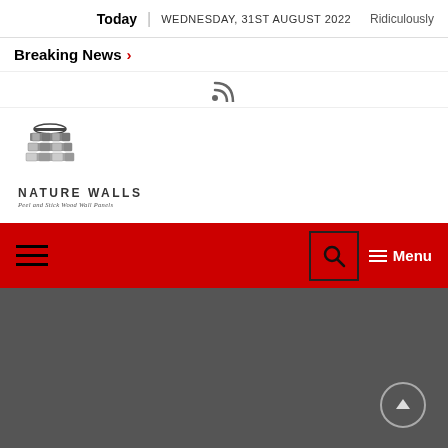Today | WEDNESDAY, 31ST AUGUST 2022
Breaking News > Ridiculously
[Figure (logo): RSS feed icon]
[Figure (logo): Nature Walls logo — Peel and Stick Wood Wall Panels]
Hamburger menu | Search | Menu